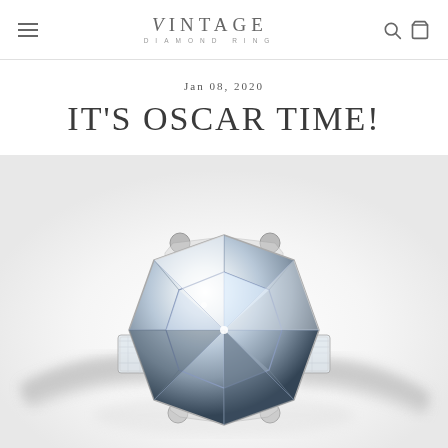VINTAGE DIAMOND RING
Jan 08, 2020
IT'S OSCAR TIME!
[Figure (photo): Close-up photograph of a vintage diamond ring featuring a large cushion-cut center diamond set in a platinum or white gold setting with tapered baguette side stones. The ring is photographed on a white background.]